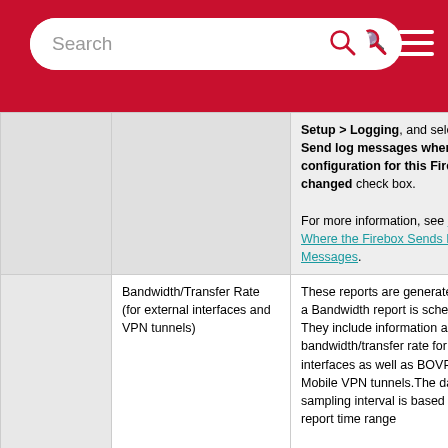Search
|  |  |  |
| --- | --- | --- |
|  |  | Setup > Logging, and select the Send log messages when the configuration for this Firebox is changed check box.

For more information, see Define Where the Firebox Sends Log Messages. |
|  | Bandwidth/Transfer Rate (for external interfaces and VPN tunnels) | These reports are generated when a Bandwidth report is scheduled. They include information about the bandwidth/transfer rate for external interfaces as well as BOVPN and Mobile VPN tunnels.The data sampling interval is based on the report time range |